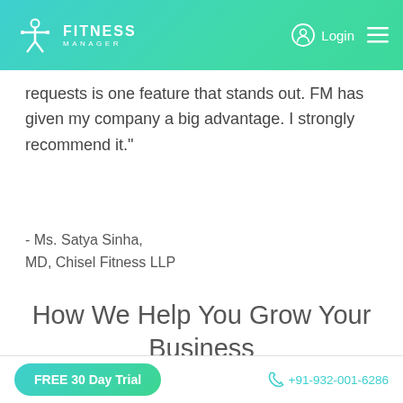FITNESS MANAGER — Login
requests is one feature that stands out. FM has given my company a big advantage. I strongly recommend it."
- Ms. Satya Sinha,
MD, Chisel Fitness LLP
How We Help You Grow Your Business
[Figure (illustration): Bar chart growth icon with upward arrow circle overlay, in teal/cyan outline style]
FREE 30 Day Trial   +91-932-001-6286